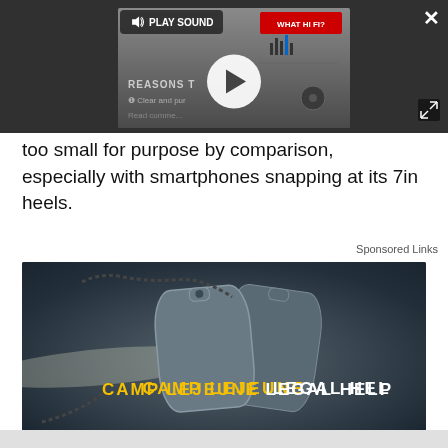[Figure (screenshot): Video player overlay with play button, speaker icon, PLAY SOUND button, close X button, expand icon, and What HiFi? thumbnail in dark overlay]
too small for purpose by comparison, especially with smartphones snapping at its 7in heels.
Sponsored Links
[Figure (photo): Advertisement image showing military dog tags on dark leather surface with text CAMP LEJEUNE LEGAL HELP in yellow and white letters with light beam effect]